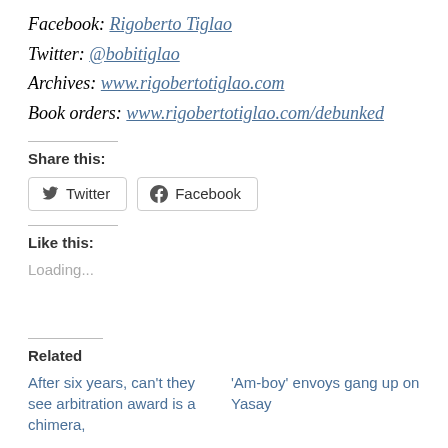Facebook: Rigoberto Tiglao
Twitter: @bobitiglao
Archives: www.rigobertotiglao.com
Book orders: www.rigobertotiglao.com/debunked
Share this:
Twitter  Facebook
Like this:
Loading...
Related
After six years, can't they see arbitration award is a chimera,
'Am-boy' envoys gang up on Yasay